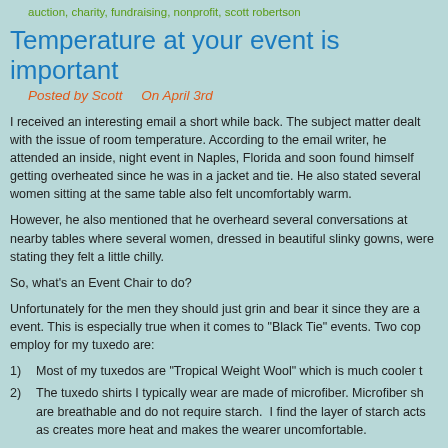auction, charity, fundraising, nonprofit, scott robertson
Temperature at your event is important
Posted by Scott     On April 3rd
I received an interesting email a short while back. The subject matter dealt with the issue of room temperature. According to the email writer, he attended an inside, night event in Naples, Florida and soon found himself getting overheated since he was in a jacket and tie. He also stated several women sitting at the same table also felt uncomfortably warm.
However, he also mentioned that he overheard several conversations at nearby tables where several women, dressed in beautiful slinky gowns, were stating they felt a little chilly.
So, what’s an Event Chair to do?
Unfortunately for the men they should just grin and bear it since they are a event. This is especially true when it comes to “Black Tie” events. Two cop employ for my tuxedo are:
1)   Most of my tuxedos are “Tropical Weight Wool” which is much cooler t
2)   The tuxedo shirts I typically wear are made of microfiber. Microfiber sh are breathable and do not require starch.  I find the layer of starch acts as creates more heat and makes the wearer uncomfortable.